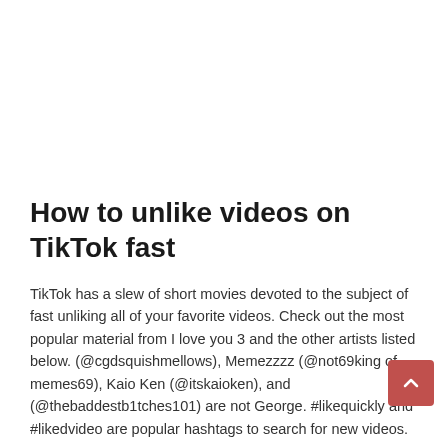How to unlike videos on TikTok fast
TikTok has a slew of short movies devoted to the subject of fast unliking all of your favorite videos. Check out the most popular material from I love you 3 and the other artists listed below. (@cgdsquishmellows), Memezzzz (@not69king of memes69), Kaio Ken (@itskaioken), and (@thebaddestb1tches101) are not George. #likequickly and #likedvideo are popular hashtags to search for new videos.
Did TikTok remove liked videos